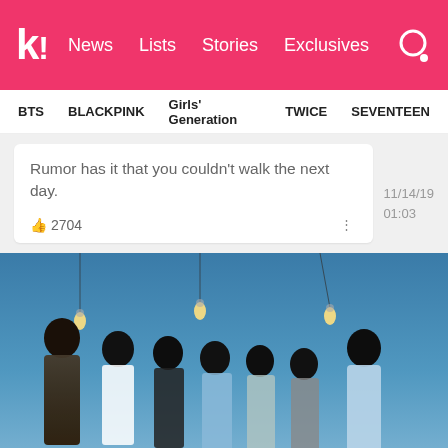k! News Lists Stories Exclusives
BTS   BLACKPINK   Girls' Generation   TWICE   SEVENTEEN
Rumor has it that you couldn't walk the next day.
2704   11/14/19 01:03
[Figure (photo): Group photo of BTS (7 members) posing against a blue sky background with hanging light bulbs. Members wearing casual summer outfits. BTS logo/text visible in bottom left corner.]